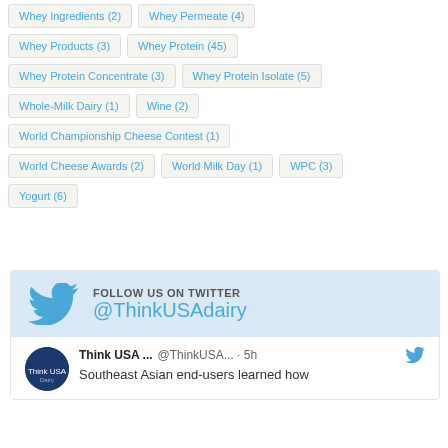Whey Ingredients (2)
Whey Permeate (4)
Whey Products (3)
Whey Protein (45)
Whey Protein Concentrate (3)
Whey Protein Isolate (5)
Whole-Milk Dairy (1)
Wine (2)
World Championship Cheese Contest (1)
World Cheese Awards (2)
World Milk Day (1)
WPC (3)
Yogurt (6)
FOLLOW US ON TWITTER
@ThinkUSAdairy
Think USA ... @ThinkUSA... · 5h
Southeast Asian end-users learned how